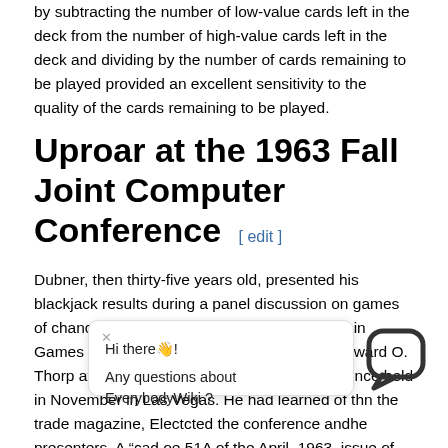by subtracting the number of low-value cards left in the deck from the number of high-value cards left in the deck and dividing by the number of cards remaining to be played provided an excellent sensitivity to the quality of the cards remaining to be played.
Uproar at the 1963 Fall Joint Computer Conference [ edit ]
Dubner, then thirty-five years old, presented his blackjack results during a panel discussion on games of chance and skill, entitled “Using Computers in Games of Chance and Skill,” moderated by Edward O. Thorp at the 1963 Fall Joint Computer Conference held in November in Las Vegas. He had learned of th… in the trade magazine, Elect… cted the conference and… he presenters. A “ca… d o… e 51A of the April, 1963, issue of Electrical Engineering